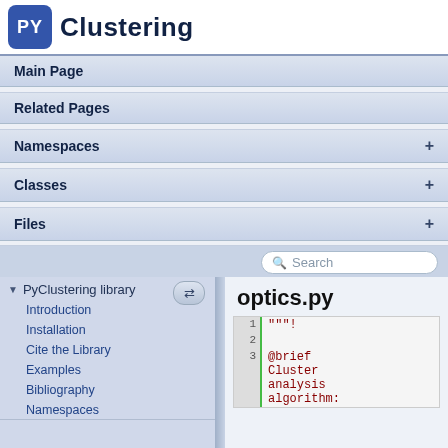PY Clustering
Main Page
Related Pages
Namespaces +
Classes +
Files +
PyClustering library
Introduction
Installation
Cite the Library
Examples
Bibliography
Namespaces
optics.py
[Figure (screenshot): Code snippet showing lines 1-3 of optics.py with content: line 1: """, line 2: (empty), line 3: @brief Cluster analysis algorithm:]
pyclustering   cluster   optics.py